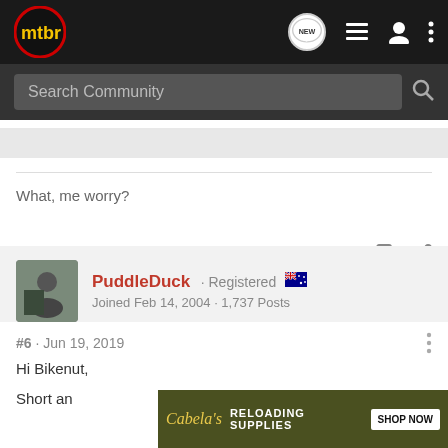mtbr
What, me worry?
PuddleDuck · Registered
Joined Feb 14, 2004 · 1,737 Posts
#6 · Jun 19, 2019
Hi Bikenut,
Short an
[Figure (screenshot): Cabela's RELOADING SUPPLIES advertisement banner with SHOP NOW button]